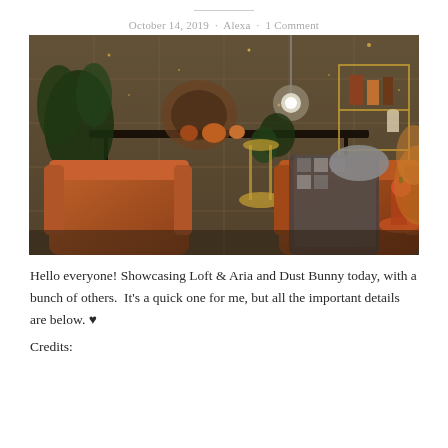October 14, 2019 · Alexa · 1 Comment
[Figure (photo): Interior design scene with leather armchairs, tropical plants, a decorative wreath, golden shelving unit, patterned throw blanket, and moody dark paneled wall with fairy lights]
Hello everyone! Showcasing Loft & Aria and Dust Bunny today, with a bunch of others.  It's a quick one for me, but all the important details are below. ♥
Credits: